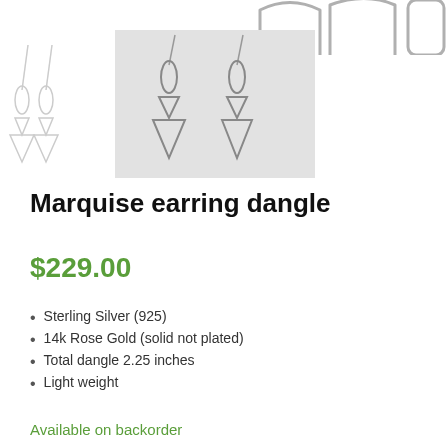[Figure (photo): Product photos of Marquise earring dangle — a main square photo showing two dangling earrings with oval and diamond shapes in silver, and a smaller thumbnail of a lighter-colored version on the left. At the top, partial view of another earring image is cropped.]
Marquise earring dangle
$229.00
Sterling Silver (925)
14k Rose Gold (solid not plated)
Total dangle 2.25 inches
Light weight
Available on backorder